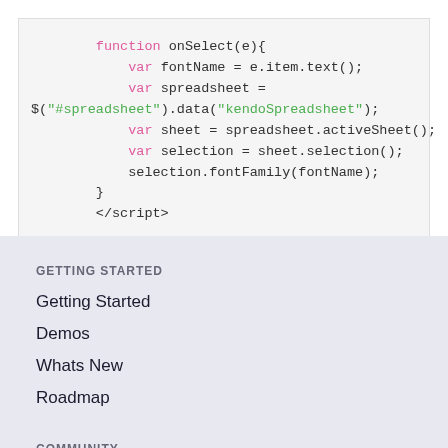function onSelect(e){
    var fontName = e.item.text();
    var spreadsheet =
$("#spreadsheet").data("kendoSpreadsheet");
    var sheet = spreadsheet.activeSheet();
    var selection = sheet.selection();
    selection.fontFamily(fontName);
}
GETTING STARTED
Getting Started
Demos
Whats New
Roadmap
COMMUNITY